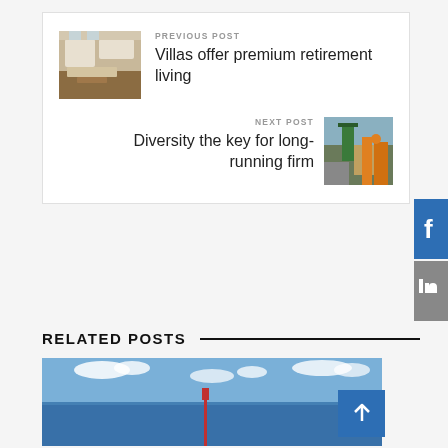PREVIOUS POST
Villas offer premium retirement living
[Figure (photo): Interior of a retirement villa living room with white sofas and a wooden coffee table]
NEXT POST
Diversity the key for long-running firm
[Figure (photo): Construction site with machinery and workers in high visibility vests]
RELATED POSTS
[Figure (photo): Ocean view with blue sky and clouds, a structure visible in the water]